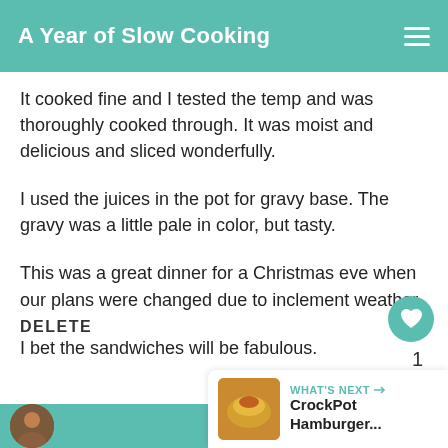A Year of Slow Cooking
It cooked fine and I tested the temp and was thoroughly cooked through. It was moist and delicious and sliced wonderfully.
I used the juices in the pot for gravy base. The gravy was a little pale in color, but tasty.
This was a great dinner for a Christmas eve when our plans were changed due to inclement weather.
I bet the sandwiches will be fabulous.
DELETE
WHAT'S NEXT → CrockPot Hamburger...